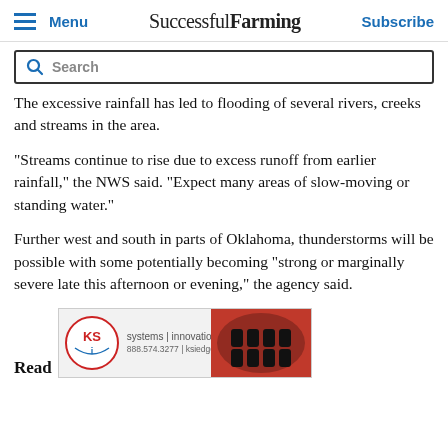Menu | Successful Farming | Subscribe
Search
The excessive rainfall has led to flooding of several rivers, creeks and streams in the area.
"Streams continue to rise due to excess runoff from earlier rainfall," the NWS said. "Expect many areas of slow-moving or standing water."
Further west and south in parts of Oklahoma, thunderstorms will be possible with some potentially becoming "strong or marginally severe late this afternoon or evening," the agency said.
Read
[Figure (photo): Advertisement banner for KSi (systems | innovation | service), showing logo and machinery image with contact 888.574.3277 | ksiedge.com]